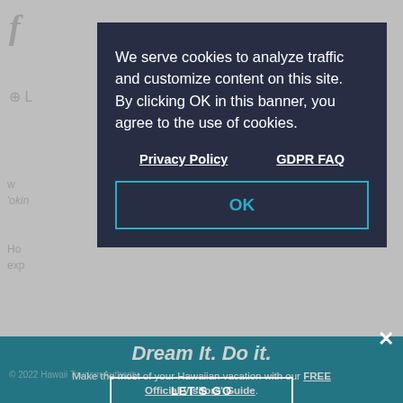[Figure (screenshot): Background webpage with Facebook icon, globe icon, partial text, zigzag chevron pattern, BACK TO TOP label, and teal footer with Dream It. Do it. promotional banner and LET'S GO button partially visible.]
We serve cookies to analyze traffic and customize content on this site. By clicking OK in this banner, you agree to the use of cookies.
Privacy Policy   GDPR FAQ
OK
Dream It. Do it.
Make the most of your Hawaiian vacation with our FREE Official Visitors' Guide.
LET'S GO